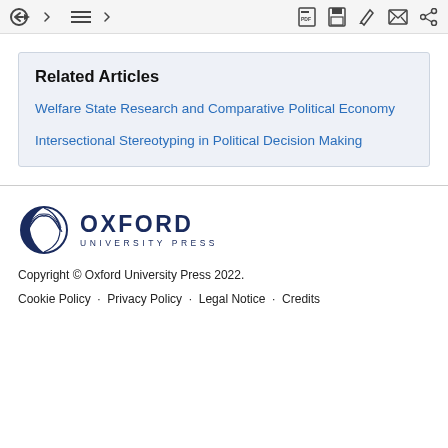Toolbar with navigation icons (back, list, PDF, save, edit, email, share)
Related Articles
Welfare State Research and Comparative Political Economy
Intersectional Stereotyping in Political Decision Making
[Figure (logo): Oxford University Press logo with circular emblem and text OXFORD UNIVERSITY PRESS]
Copyright © Oxford University Press 2022.
Cookie Policy · Privacy Policy · Legal Notice · Credits